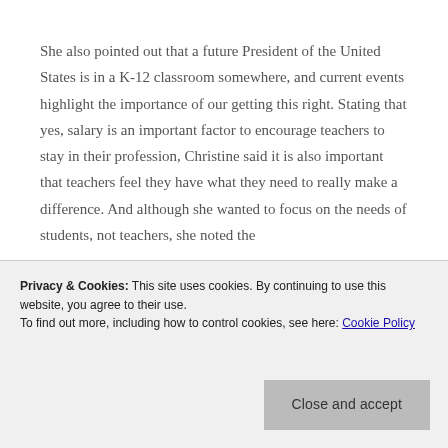She also pointed out that a future President of the United States is in a K-12 classroom somewhere, and current events highlight the importance of our getting this right. Stating that yes, salary is an important factor to encourage teachers to stay in their profession, Christine said it is also important that teachers feel they have what they need to really make a difference. And although she wanted to focus on the needs of students, not teachers, she noted the
Privacy & Cookies: This site uses cookies. By continuing to use this website, you agree to their use. To find out more, including how to control cookies, see here: Cookie Policy
Close and accept
and that takes place outside of the classroom. As if